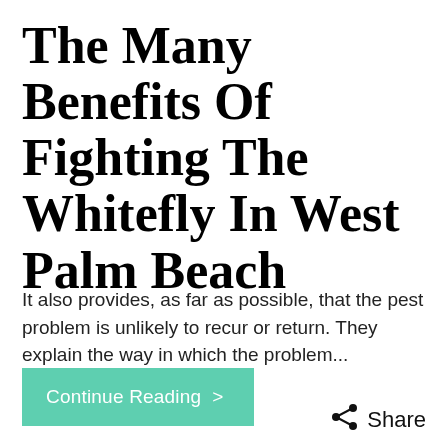The Many Benefits Of Fighting The Whitefly In West Palm Beach
It also provides, as far as possible, that the pest problem is unlikely to recur or return. They explain the way in which the problem...
Continue Reading >
Share